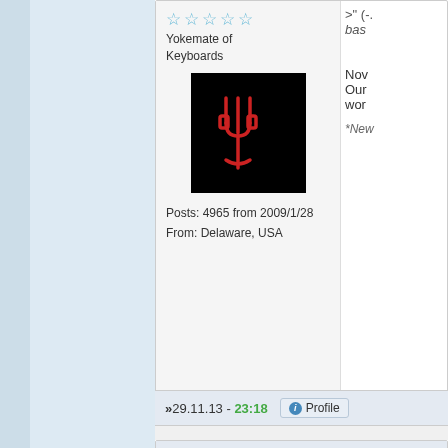[Figure (screenshot): Forum page showing two user posts. Left side has a light blue panel. First post area shows a user with 5 star rating labeled 'Yokemate of Keyboards', an avatar image (dark background with red fork/trident icon), post count 4965 from 2009/1/28, from Delaware USA. Post date 29.11.13 - 23:18 with Profile button. Partial text visible on right: '>(..', 'bas', 'Nov', 'Our', 'wor', '*Nev'. Second user block shows Andreas_Wolf with 5 stars, Yokemate of Keyboards, posts 11609 from 2002/5/22, partial text '>> th', '> th', 'Acco'.]